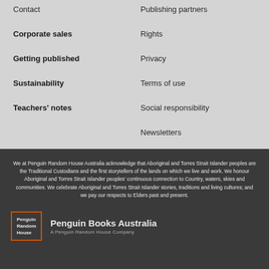Contact
Publishing partners
Corporate sales
Rights
Getting published
Privacy
Sustainability
Terms of use
Teachers' notes
Social responsibility
Newsletters
We at Penguin Random House Australia acknowledge that Aboriginal and Torres Strait Islander peoples are the Traditional Custodians and the first storytellers of the lands on which we live and work. We honour Aboriginal and Torres Strait Islander peoples' continuous connection to Country, waters, skies and communities. We celebrate Aboriginal and Torres Strait Islander stories, traditions and living cultures; and we pay our respects to Elders past and present.
Penguin Books Australia
A Penguin Random House Company